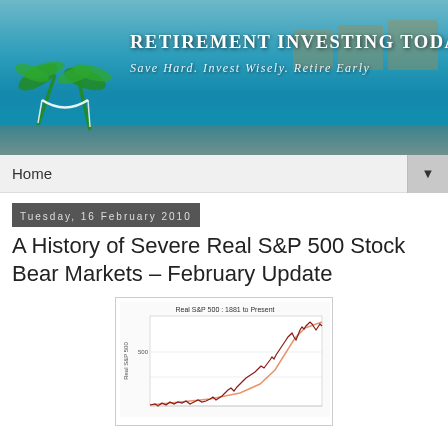[Figure (photo): Banner header image showing a tropical beach/resort scene with a couple sitting on a dock over turquoise water, with overwater bungalows in background. Overlaid text reads 'RETIREMENT INVESTING TODAY' and 'Save Hard. Invest Wisely. Retire Early' with a palm tree and hammock logo on the left.]
Home ▼
Tuesday, 16 February 2010
A History of Severe Real S&P 500 Stock Bear Markets – February Update
[Figure (continuous-plot): Line chart titled 'Real S&P 500 : 1881 to Present' showing the Real S&P 500 index from 1881 to present. The y-axis is labeled 'Real S&P 500' and shows a value of 500 marked. The chart shows a mostly flat/low line from 1881 through roughly the mid-20th century, then a steep exponential-like rise through the late 20th and early 21st centuries, with a prominent orange/salmon trend line overlaid and the main data line in dark red/maroon. The recent peak is at the top right with a partial decline visible.]